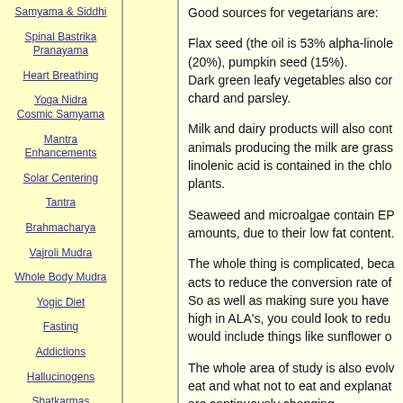Samyama & Siddhi
Spinal Bastrika Pranayama
Heart Breathing
Yoga Nidra Cosmic Samyama
Mantra Enhancements
Solar Centering
Tantra
Brahmacharya
Vajroli Mudra
Whole Body Mudra
Yogic Diet
Fasting
Addictions
Hallucinogens
Shatkarmas
Good sources for vegetarians are:
Flax seed (the oil is 53% alpha-linole (20%), pumpkin seed (15%). Dark green leafy vegetables also con chard and parsley.
Milk and dairy products will also cont animals producing the milk are grass linolenic acid is contained in the chlo plants.
Seaweed and microalgae contain EP amounts, due to their low fat content.
The whole thing is complicated, beca acts to reduce the conversion rate of So as well as making sure you have high in ALA's, you could look to redu would include things like sunflower o
The whole area of study is also evolv eat and what not to eat and explanat are continuously changing.
Christi